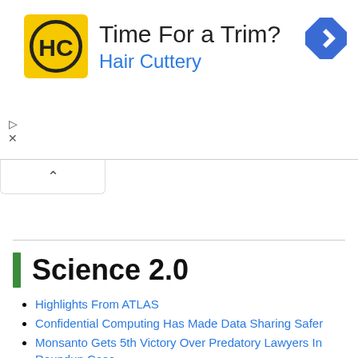[Figure (screenshot): Hair Cuttery advertisement banner with yellow logo showing HC letters in a circle, text 'Time For a Trim?' and 'Hair Cuttery' in blue, plus a blue navigation diamond icon on the right.]
Science 2.0
Highlights From ATLAS
Confidential Computing Has Made Data Sharing Safer
Monsanto Gets 5th Victory Over Predatory Lawyers In Roundup Case
What's 3 Billion Times Colder Than Deep Space? Fermions Produced By Special Unitary Spin Rates